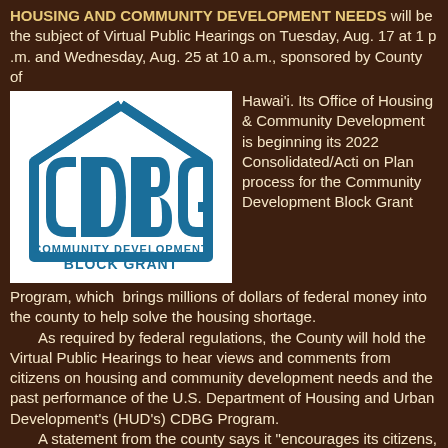HOUSING AND COMMUNITY DEVELOPMENT NEEDS will be the subject of Virtual Public Hearings on Tuesday, Aug. 17 at 1 p .m. and Wednesday, Aug. 25 at 10 a.m., sponsored by County of
[Figure (logo): CDBG Community Development Block Grant logo — blue house outline with CDBG letters inside, text 'COMMUNITY DEVELOPMENT BLOCK GRANT' below, on white background]
Hawai'i. Its Office of Housing & Community Development is beginning its 2022 Consolidated/Action Plan process for the Community Development Block Grant Program, which brings millions of dollars of federal money into the county to help solve the housing shortage.
As required by federal regulations, the County will hold the Virtual Public Hearings to hear views and comments from citizens on housing and community development needs and the past performance of the U.S. Department of Housing and Urban Development's (HUD's) CDBG Program.
A statement from the county says it "encourages its citizens, especially persons of low and moderate income